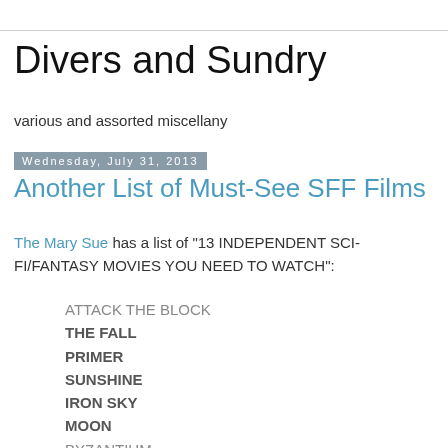Divers and Sundry
various and assorted miscellany
Wednesday, July 31, 2013
Another List of Must-See SFF Films
The Mary Sue has a list of "13 INDEPENDENT SCI-FI/FANTASY MOVIES YOU NEED TO WATCH":
ATTACK THE BLOCK
THE FALL
PRIMER
SUNSHINE
IRON SKY
MOON
BYZANTIUM
ANOTHER EARTH AND SOUND OF MY VOICE
SAFETY NOT GUARANTEED